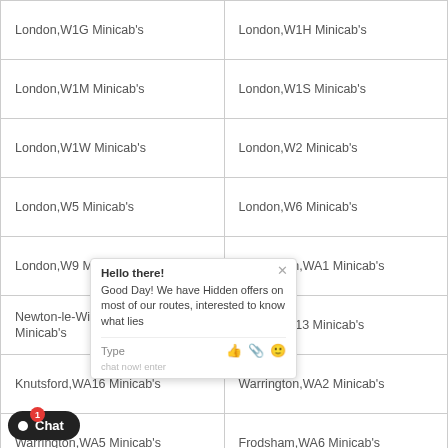| London,W1G Minicab's | London,W1H Minicab's |
| London,W1M Minicab's | London,W1S Minicab's |
| London,W1W Minicab's | London,W2 Minicab's |
| London,W5 Minicab's | London,W6 Minicab's |
| London,W9 Minicab's | Warrington,WA1 Minicab's |
| Newton-le-Willows,WA12 Minicab's | Lymm,WA13 Minicab's |
| Knutsford,WA16 Minicab's | Warrington,WA2 Minicab's |
| Warrington,WA5 Minicab's | Frodsham,WA6 Minicab's |
| Sale,... Minicab's | London,WC1 Minicab's |
| London,... Minicab's | London,WC1H Minicab's |
| London,... Minicab's | London,WC1X Minicab's |
| London,WC2B Minicab's | London,WC2E Minicab's |
| London,WC2R Minicab's | Watford,WD1 Minicab's |